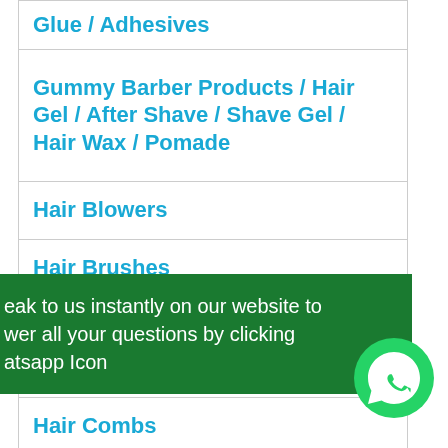| Glue / Adhesives |
| Gummy Barber Products / Hair Gel / After Shave / Shave Gel / Hair Wax / Pomade |
| Hair Blowers |
| Hair Brushes |
| Hair Color / Hair Dye / Clear Peroxide / Creme Developer |
| Hair Combs |
| Hair Equipment |
| Mousse / Gel / Pomade |
| Hair Conditioner / Treatments |
eak to us instantly on our website to wer all your questions by clicking atsapp Icon